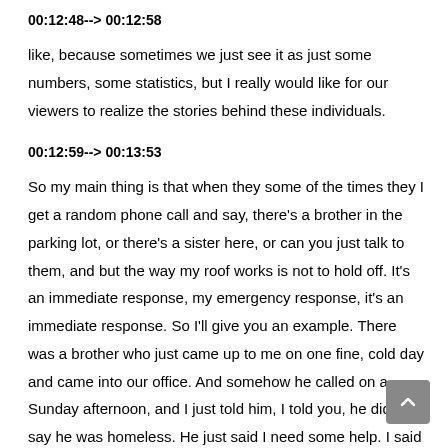00:12:48--> 00:12:58
like, because sometimes we just see it as just some numbers, some statistics, but I really would like for our viewers to realize the stories behind these individuals.
00:12:59--> 00:13:53
So my main thing is that when they some of the times they I get a random phone call and say, there's a brother in the parking lot, or there's a sister here, or can you just talk to them, and but the way my roof works is not to hold off. It's an immediate response, my emergency response, it's an immediate response. So I'll give you an example. There was a brother who just came up to me on one fine, cold day and came into our office. And somehow he called on a Sunday afternoon, and I just told him, I told you, he didn't say he was homeless. He just said I need some help. I said want to come in